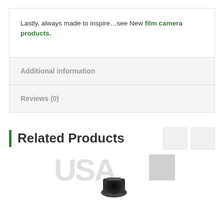Lastly, always made to inspire…see New film camera products.
Additional information
Reviews (0)
Related Products
[Figure (photo): Product image area showing a lens cap/camera lens product with a USA watermark background and a gray badge overlay]